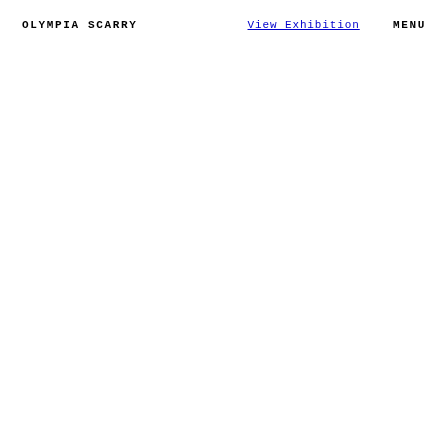OLYMPIA SCARRY   View Exhibition   MENU